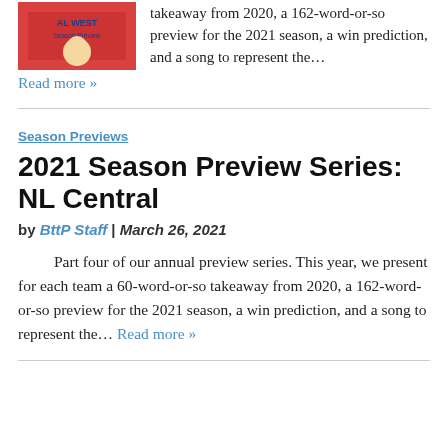[Figure (illustration): Illustrated image with red background showing a cartoon figure with 'AL WEST Season Preview' text]
takeaway from 2020, a 162-word-or-so preview for the 2021 season, a win prediction, and a song to represent the…
Read more »
Season Previews
2021 Season Preview Series: NL Central
by BttP Staff | March 26, 2021
Part four of our annual preview series. This year, we present for each team a 60-word-or-so takeaway from 2020, a 162-word-or-so preview for the 2021 season, a win prediction, and a song to represent the… Read more »